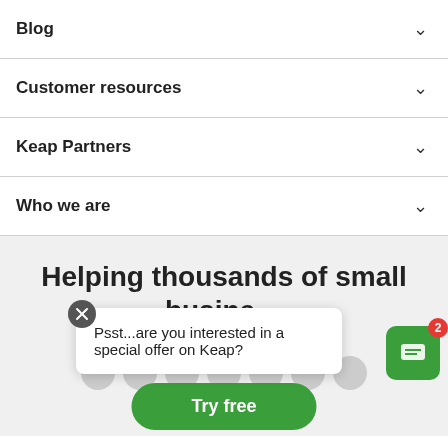Blog
Customer resources
Keap Partners
Who we are
Helping thousands of small businesses grow
Psst...are you interested in a special offer on Keap?
Try free